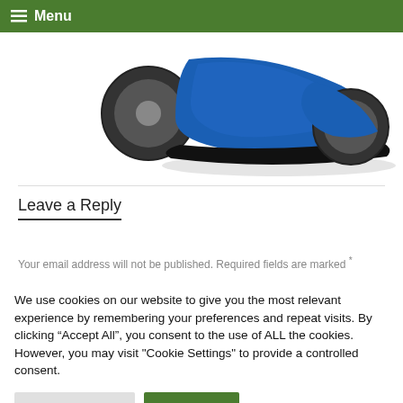Menu
[Figure (photo): Partial view of a blue wheeled product/vehicle on white background, showing wheel and blue body]
Leave a Reply
Your email address will not be published. Required fields are marked *
We use cookies on our website to give you the most relevant experience by remembering your preferences and repeat visits. By clicking “Accept All”, you consent to the use of ALL the cookies. However, you may visit "Cookie Settings" to provide a controlled consent.
Cookie Settings | Accept All